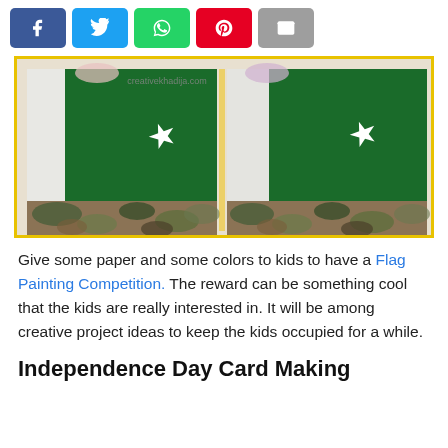[Figure (other): Social media share buttons: Facebook (blue), Twitter (light blue), WhatsApp (green), Pinterest (red), Email (grey)]
[Figure (photo): Two hand-painted Pakistan flags on paper showing green crescent and star, with camouflage pattern at the bottom, displayed with yellow border. Watermark: creativekhadija.com]
Give some paper and some colors to kids to have a Flag Painting Competition. The reward can be something cool that the kids are really interested in. It will be among creative project ideas to keep the kids occupied for a while.
Independence Day Card Making